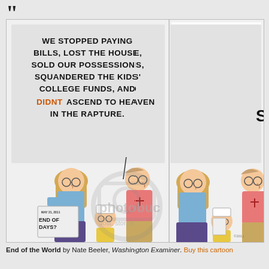[Figure (illustration): A multi-panel editorial cartoon by Nate Beeler from the Washington Examiner. Features a family (woman, man, and child) in multiple panels. Speech bubble in first panel reads: 'WE STOPPED PAYING BILLS, LOST THE HOUSE, SOLD OUR POSSESSIONS, SQUANDERED THE KIDS' COLLEGE FUNDS, AND DIDNT ASCEND TO HEAVEN IN THE RAPTURE.' Child holds newspaper reading 'MAY 21, 2011 END OF DAYS?' The cartoon is overlaid with a Photobucket watermark. Artist signature and Washington Examiner branding appear in top right.]
End of the World by Nate Beeler, Washington Examiner. Buy this cartoon